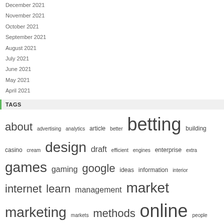December 2021
November 2021
October 2021
September 2021
August 2021
July 2021
June 2021
May 2021
April 2021
TAGS
about advertising analytics article better betting building casino cream design draft efficient engines enterprise extra games gaming google ideas information interior internet learn management market marketing markets methods online people rich search seven simple sport